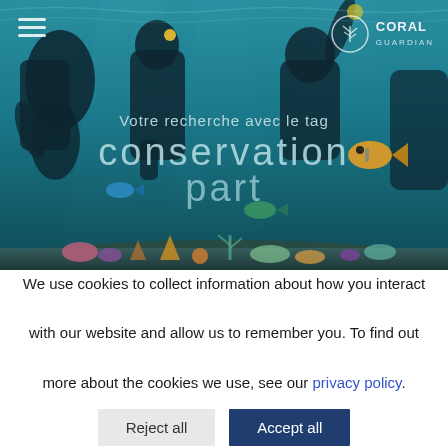[Figure (photo): Underwater photo showing divers/snorkelers working with coral reef, colorful fish visible, tropical underwater scene with coral fragments]
Votre recherche avec le tag
conservation
part
We use cookies to collect information about how you interact with our website and allow us to remember you. To find out more about the cookies we use, see our privacy policy.